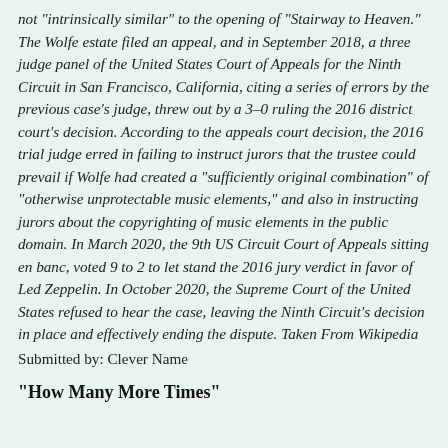not "intrinsically similar" to the opening of "Stairway to Heaven." The Wolfe estate filed an appeal, and in September 2018, a three judge panel of the United States Court of Appeals for the Ninth Circuit in San Francisco, California, citing a series of errors by the previous case's judge, threw out by a 3–0 ruling the 2016 district court's decision. According to the appeals court decision, the 2016 trial judge erred in failing to instruct jurors that the trustee could prevail if Wolfe had created a "sufficiently original combination" of "otherwise unprotectable music elements," and also in instructing jurors about the copyrighting of music elements in the public domain. In March 2020, the 9th US Circuit Court of Appeals sitting en banc, voted 9 to 2 to let stand the 2016 jury verdict in favor of Led Zeppelin. In October 2020, the Supreme Court of the United States refused to hear the case, leaving the Ninth Circuit's decision in place and effectively ending the dispute. Taken From Wikipedia
Submitted by: Clever Name
"How Many More Times"